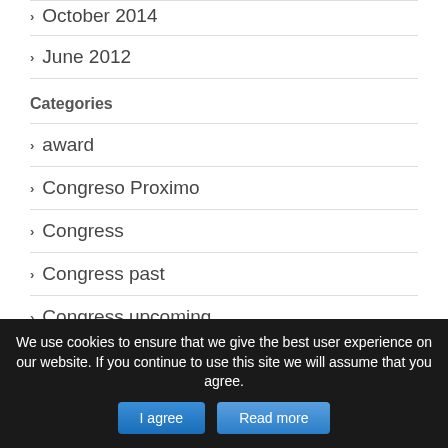October 2014
June 2012
Categories
award
Congreso Proximo
Congress
Congress past
Congress upcoming
We use cookies to ensure that we give the best user experience on our website. If you continue to use this site we will assume that you agree.